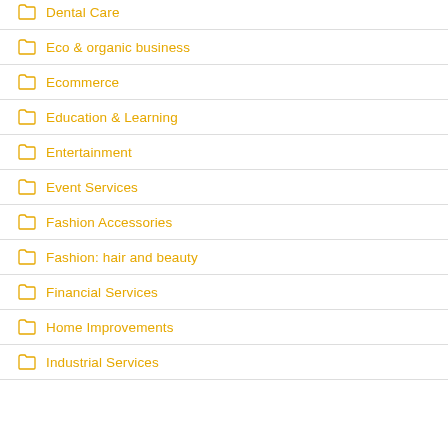Dental Care
Eco & organic business
Ecommerce
Education & Learning
Entertainment
Event Services
Fashion Accessories
Fashion: hair and beauty
Financial Services
Home Improvements
Industrial Services